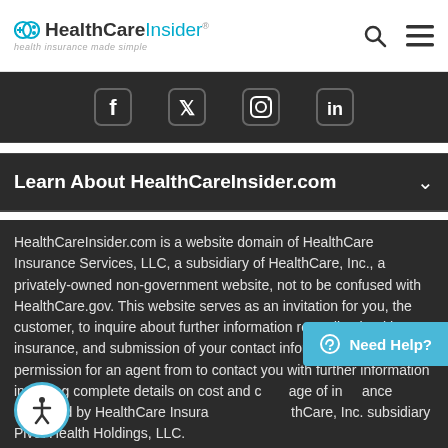HealthCareInsider — health insurance made simple
[Figure (other): Social media icons bar: Facebook, Twitter, Instagram, LinkedIn icons on dark background]
Learn About HealthCareInsider.com
HealthCareInsider.com is a website domain of HealthCare Insurance Services, LLC, a subsidiary of HealthCare, Inc., a privately-owned non-government website, not to be confused with HealthCare.gov. This website serves as an invitation for you, the customer, to inquire about further information regarding health insurance, and submission of your contact information constitutes permission for an agent from to contact you with further information including complete details on cost and coverage of insurance marketed by HealthCare Insurance and HealthCare, Inc. subsidiary Pivot Health Holdings, LLC.
We are committed to protecting and respecting your privacy